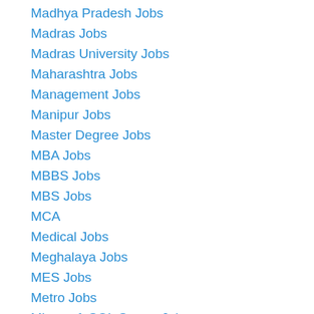Madhya Pradesh Jobs
Madras Jobs
Madras University Jobs
Maharashtra Jobs
Management Jobs
Manipur Jobs
Master Degree Jobs
MBA Jobs
MBBS Jobs
MBS Jobs
MCA
Medical Jobs
Meghalaya Jobs
MES Jobs
Metro Jobs
Microsoft SQL Server Jobs